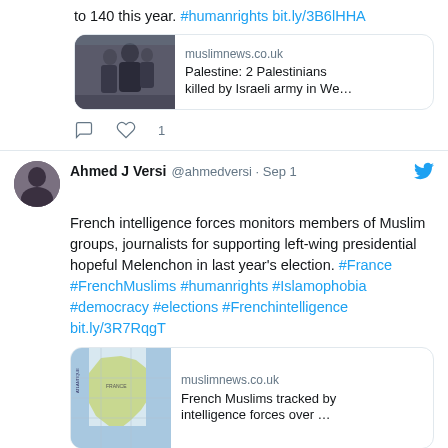to 140 this year. #humanrights bit.ly/3B6lHHA
[Figure (screenshot): Link card with photo of people: muslimnews.co.uk — Palestine: 2 Palestinians killed by Israeli army in We…]
1 like (heart icon)
Ahmed J Versi @ahmedversi · Sep 1 — French intelligence forces monitors members of Muslim groups, journalists for supporting left-wing presidential hopeful Melenchon in last year's election. #France #FrenchMuslims #humanrights #Islamophobia #democracy #elections #Frenchintelligence bit.ly/3R7RqgT
[Figure (screenshot): Link card with map of France: muslimnews.co.uk — French Muslims tracked by intelligence forces over …]